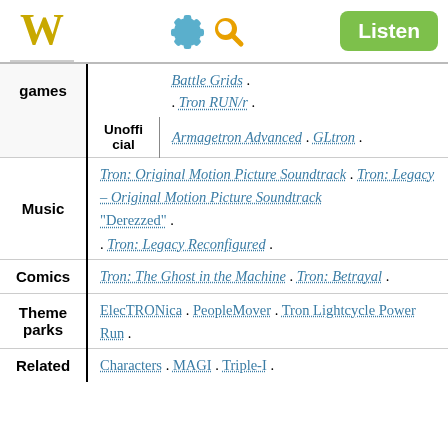W [Wikipedia logo] [gear icon] [search icon] Listen
| Category | Subcategory | Content |
| --- | --- | --- |
| games |  | Battle Grids . . Tron RUN/r . |
|  | Unofficial | Armagetron Advanced . GLtron . |
| Music |  | Tron: Original Motion Picture Soundtrack . Tron: Legacy – Original Motion Picture Soundtrack "Derezzed" . . Tron: Legacy Reconfigured . |
| Comics |  | Tron: The Ghost in the Machine . Tron: Betrayal . |
| Theme parks |  | ElecTRONica . PeopleMover . Tron Lightcycle Power Run . |
| Related |  | Characters . MAGI . Triple-I . |